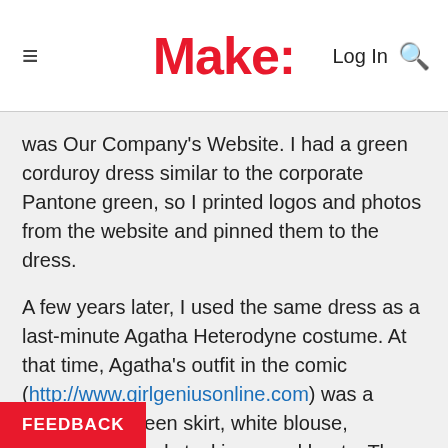Make:  Log In 🔍
was Our Company's Website. I had a green corduroy dress similar to the corporate Pantone green, so I printed logos and photos from the website and pinned them to the dress.
A few years later, I used the same dress as a last-minute Agatha Heterodyne costume. At that time, Agatha's outfit in the comic (http://www.girlgeniusonline.com) was a green vest, green skirt, white blouse, red/white striped stockings, and boots. The dress (actually a jumper) looked like a
FEEDBACK